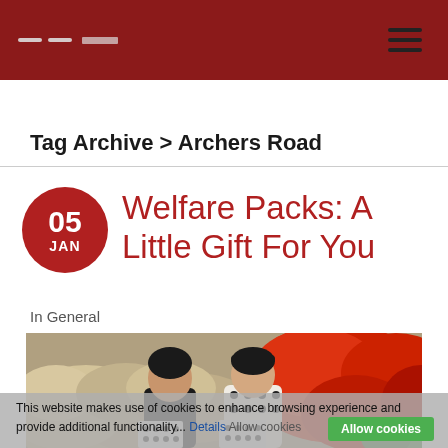Tag Archive > Archers Road
Welfare Packs: A Little Gift For You
In General
[Figure (photo): Two people standing in front of large piles of bags - beige fabric bags and red plastic bags - holding printed sheets with dot patterns.]
This website makes use of cookies to enhance browsing experience and provide additional functionality... Details Allow cookies